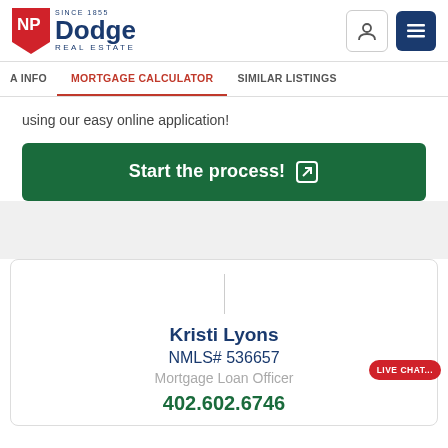[Figure (logo): NP Dodge Real Estate logo with red flag pennant and blue text]
using our easy online application!
Start the process! [external link icon]
Kristi Lyons
NMLS# 536657
Mortgage Loan Officer
402.602.6746